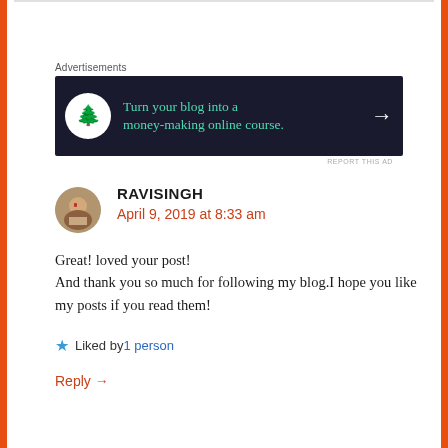Advertisements
[Figure (other): Advertisement banner with dark navy background, bonsai tree icon in white circle, teal text 'Turn your blog into a money-making online course.' and white right arrow]
REPORT THIS AD
RAVISINGH
April 9, 2019 at 8:33 am
Great! loved your post!
And thank you so much for following my blog.I hope you like my posts if you read them!
Liked by 1person
Reply →